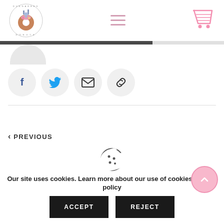[Figure (logo): Dungarees Donuts circular logo with donut and castle/figures illustration]
[Figure (infographic): Hamburger menu icon (three pink horizontal lines)]
[Figure (infographic): Pink shopping cart icon]
[Figure (infographic): Dark progress bar approximately 68% filled]
[Figure (infographic): Social share buttons row: Facebook (f), Twitter (bird), Email (envelope), Link (chain) icons in gray circles]
< PREVIOUS
[Figure (infographic): Cookie icon (cookie with bite taken out and dots)]
Our site uses cookies. Learn more about our use of cookies: cookie policy
[Figure (infographic): ACCEPT button]
[Figure (infographic): REJECT button]